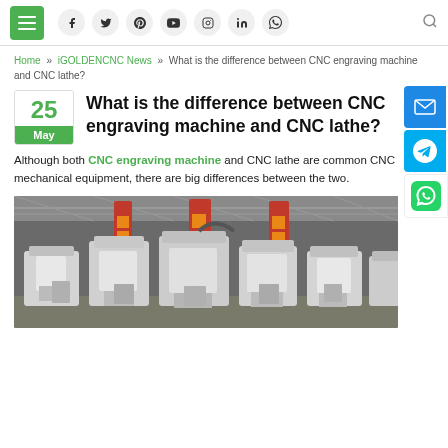Navigation bar with hamburger menu, social icons (facebook, twitter, pinterest, youtube, instagram, linkedin, whatsapp), and search icon
Home » iGOLDENCNC News » What is the difference between CNC engraving machine and CNC lathe?
What is the difference between CNC engraving machine and CNC lathe?
Although both CNC engraving machine and CNC lathe are common CNC mechanical equipment, there are big differences between the two.
[Figure (photo): Factory floor showing multiple large white CNC machines with red banners hanging from the ceiling of an industrial warehouse]